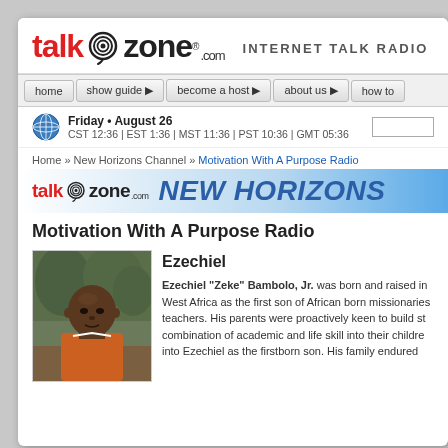[Figure (logo): TalkZone.com logo with swirl icon and 'INTERNET TALK RADIO' tagline]
home | show guide ▶ | become a host ▶ | about us ▶ | how to
Friday • August 26 CST 12:36 | EST 1:36 | MST 11:36 | PST 10:36 | GMT 05:36
Home » New Horizons Channel » Motivation With A Purpose Radio
[Figure (logo): TalkZone NEW HORIZONS channel banner]
Motivation With A Purpose Radio
Ezechiel
[Figure (photo): Portrait photo of Ezechiel Bambolo Jr., a bald Black man wearing an orange shirt, outdoors]
Ezechiel "Zeke" Bambolo, Jr. was born and raised in West Africa as the first son of African born missionaries teachers. His parents were proactively keen to build strong combination of academic and life skill into their children into Ezechiel as the firstborn son. His family endured